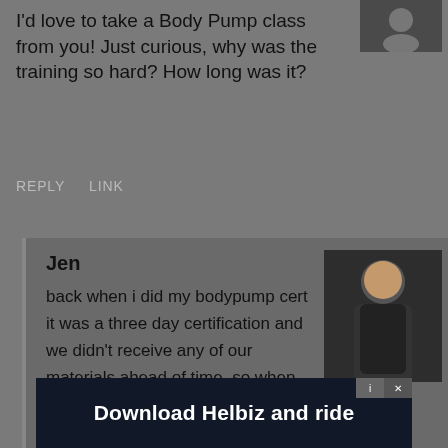I'd love to take a Body Pump class from you! Just curious, why was the training so hard? How long was it?
REPLY   LINK
Jen
back when i did my bodypump cert it was a three day certification and we didn't receive any of our materials ahead of time. so when we showed up on friday we were given assignments of what we had to learn to teach the next day. for someone with no experience teaching, it was overwhelming to say the least. these days, les mills trainings are two days and you get your assignments and materials a few weeks ahead of tim
[Figure (photo): Small avatar photo of a person, top right corner]
[Figure (photo): Profile photo of Jen, a woman in a black top]
[Figure (screenshot): Advertisement banner: Download Helbiz and ride]